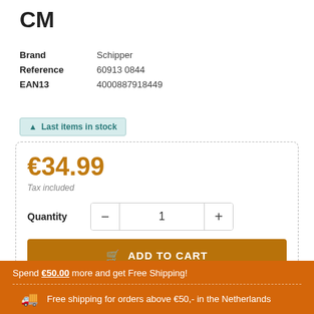CM
| Brand | Schipper |
| Reference | 60913 0844 |
| EAN13 | 4000887918449 |
▲ Last items in stock
€34.99
Tax included
Quantity 1
ADD TO CART
Spend €50.00 more and get Free Shipping!
Free shipping for orders above €50,- in the Netherlands